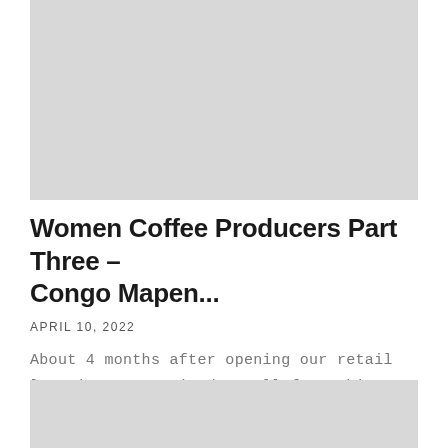[Figure (photo): Top image placeholder, light gray background]
Women Coffee Producers Part Three – Congo Mapen...
APRIL 10, 2022
About 4 months after opening our retail location, I received a call from this guy who asked me if I would be interested in purchasing coffee from a women's cooperative...
[Figure (photo): Bottom image placeholder, light gray background]